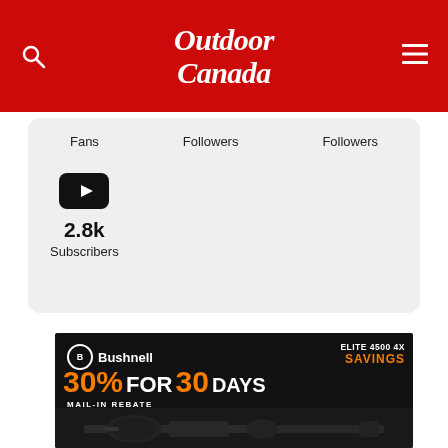Outdoor Canada
Fans	Followers	Followers
2.8k Subscribers
[Figure (screenshot): Bushnell advertisement: Elite 4500 4X Savings — 30% for 30 Days Mail-In Rebate, with image of a rifle scope]